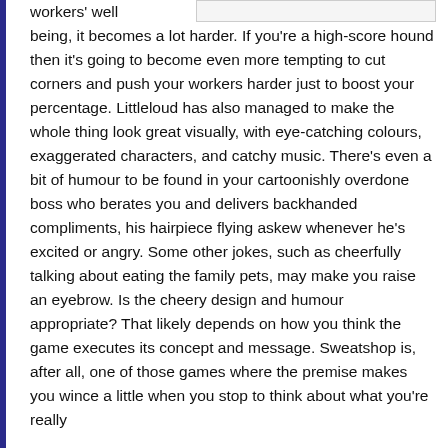workers' well being, it becomes a lot harder. If you're a high-score hound then it's going to become even more tempting to cut corners and push your workers harder just to boost your percentage. Littleloud has also managed to make the whole thing look great visually, with eye-catching colours, exaggerated characters, and catchy music. There's even a bit of humour to be found in your cartoonishly overdone boss who berates you and delivers backhanded compliments, his hairpiece flying askew whenever he's excited or angry. Some other jokes, such as cheerfully talking about eating the family pets, may make you raise an eyebrow. Is the cheery design and humour appropriate? That likely depends on how you think the game executes its concept and message. Sweatshop is, after all, one of those games where the premise makes you wince a little when you stop to think about what you're really